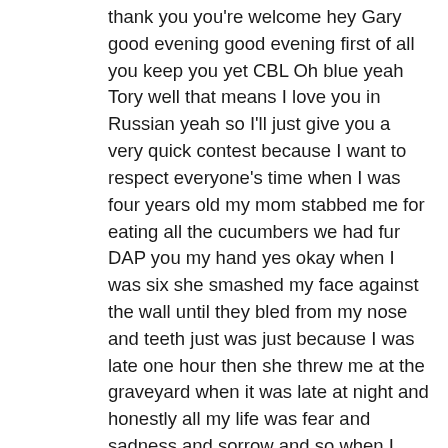thank you you're welcome hey Gary good evening good evening first of all you keep you yet CBL Oh blue yeah Tory well that means I love you in Russian yeah so I'll just give you a very quick contest because I want to respect everyone's time when I was four years old my mom stabbed me for eating all the cucumbers we had fur DAP you my hand yes okay when I was six she smashed my face against the wall until they bled from my nose and teeth just was just because I was late one hour then she threw me at the graveyard when it was late at night and honestly all my life was fear and sadness and sorrow and so when I was 20 years old I said either I kill myself or I go so I decided I go and I left my mom and a few years later I became an entrepreneur and I'm not the most successful one but I've done pretty good for myself quite happy okay and [Applause] but it's a story that resonates with me it's something I share very infrequently but my grandmother who passed away this year and maybe that's why I'm a little bit more comfortable sharing it she was very difficult – my father – in the Soviet Russia so I have a lot of empathy for